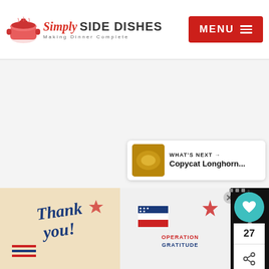Simply Side Dishes — Making Dinner Complete | MENU
[Figure (screenshot): Large blank/white content area for recipe page]
[Figure (infographic): Floating social actions panel with heart icon (teal), count 27, and share icon]
27
[Figure (infographic): What's Next panel with thumbnail of Copycat Longhorn... recipe]
WHAT'S NEXT → Copycat Longhorn...
[Figure (screenshot): Weather widget showing temperature dots]
[Figure (photo): Advertisement banner: Thank you Operation Gratitude — showing firefighters and decorative text with X close button]